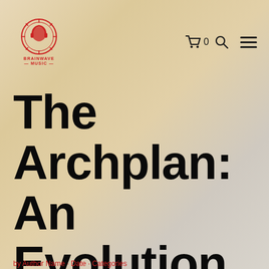BRAINWAVE MUSIC — navigation header with cart icon, search icon, and hamburger menu
The Archplan: An Evolution of Mind and Body
by [author] · [date] · [categories]